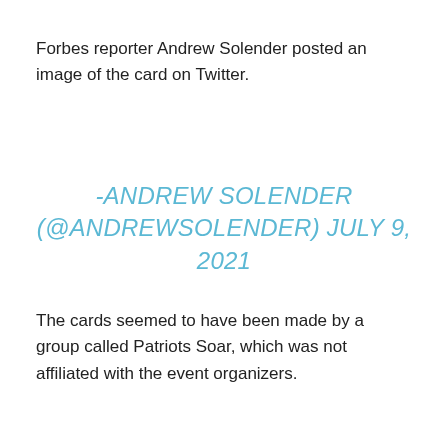Forbes reporter Andrew Solender posted an image of the card on Twitter.
-ANDREW SOLENDER (@ANDREWSOLENDER) JULY 9, 2021
The cards seemed to have been made by a group called Patriots Soar, which was not affiliated with the event organizers.
The plan involves ousting House Speaker Nancy Pelosi and eventually installing Donald Trump in her place.